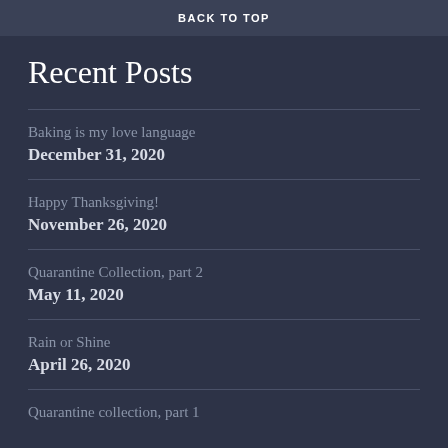BACK TO TOP
Recent Posts
Baking is my love language
December 31, 2020
Happy Thanksgiving!
November 26, 2020
Quarantine Collection, part 2
May 11, 2020
Rain or Shine
April 26, 2020
Quarantine collection, part 1